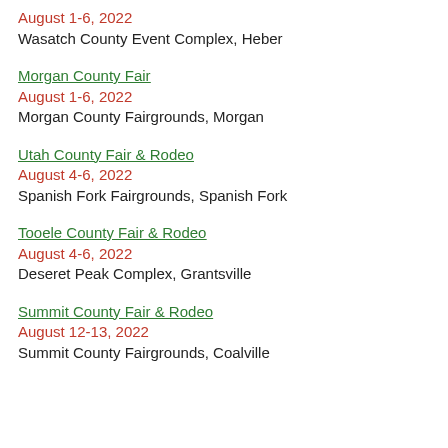August 1-6, 2022
Wasatch County Event Complex, Heber
Morgan County Fair
August 1-6, 2022
Morgan County Fairgrounds, Morgan
Utah County Fair & Rodeo
August 4-6, 2022
Spanish Fork Fairgrounds, Spanish Fork
Tooele County Fair & Rodeo
August 4-6, 2022
Deseret Peak Complex, Grantsville
Summit County Fair & Rodeo
August 12-13, 2022
Summit County Fairgrounds, Coalville